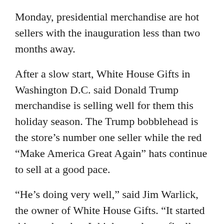Monday, presidential merchandise are hot sellers with the inauguration less than two months away.
After a slow start, White House Gifts in Washington D.C. said Donald Trump merchandise is selling well for them this holiday season. The Trump bobblehead is the store's number one seller while the red “Make America Great Again” hats continue to sell at a good pace.
“He’s doing very well,” said Jim Warlick, the owner of White House Gifts. “It started this weekend so I think people are finally realizing he’s going to be the next president.”
Despite Hillary Clinton’s loss in the election, White House Gifts is still selling Clinton gear – even shirts,